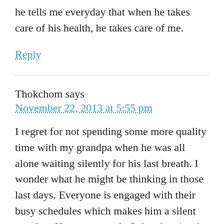he tells me everyday that when he takes care of his health, he takes care of me.
Reply
Thokchom says
November 22, 2013 at 5:55 pm
I regret for not spending some more quality time with my grandpa when he was all alone waiting silently for his last breath. I wonder what he might be thinking in those last days. Everyone is engaged with their busy schedules which makes him a silent watcher. He was properly fed and assisted